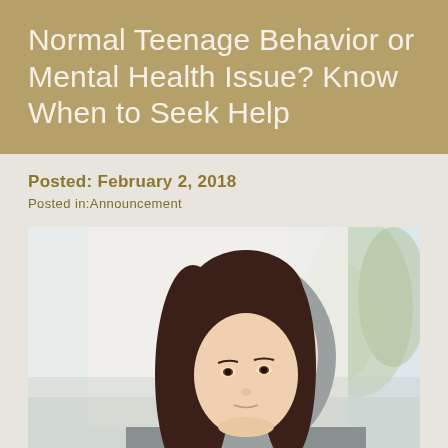Normal Teenage Behavior or Mental Health Issue? Know When to Seek Help
Posted: February 2, 2018
Posted in:Announcement
[Figure (photo): A teenage girl wearing a grey hoodie, sitting outdoors with arms crossed, looking pensively to the side. Blurred background with trees and sky.]